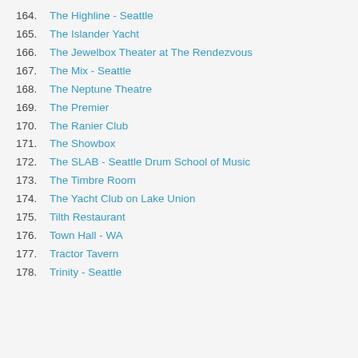164. The Highline - Seattle
165. The Islander Yacht
166. The Jewelbox Theater at The Rendezvous
167. The Mix - Seattle
168. The Neptune Theatre
169. The Premier
170. The Ranier Club
171. The Showbox
172. The SLAB - Seattle Drum School of Music
173. The Timbre Room
174. The Yacht Club on Lake Union
175. Tilth Restaurant
176. Town Hall - WA
177. Tractor Tavern
178. Trinity - Seattle